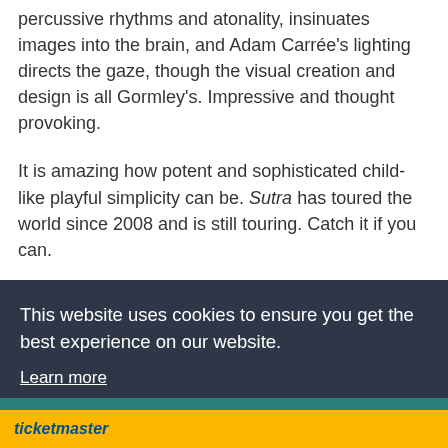percussive rhythms and atonality, insinuates images into the brain, and Adam Carrée's lighting directs the gaze, though the visual creation and design is all Gormley's. Impressive and thought provoking.
It is amazing how potent and sophisticated child-like playful simplicity can be. Sutra has toured the world since 2008 and is still touring. Catch it if you can.
Till 26th March 2010
This website uses cookies to ensure you get the best experience on our website. Learn more
Got it!
ticketmaster